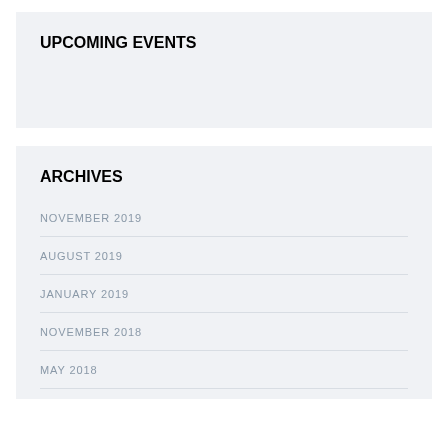UPCOMING EVENTS
ARCHIVES
NOVEMBER 2019
AUGUST 2019
JANUARY 2019
NOVEMBER 2018
MAY 2018